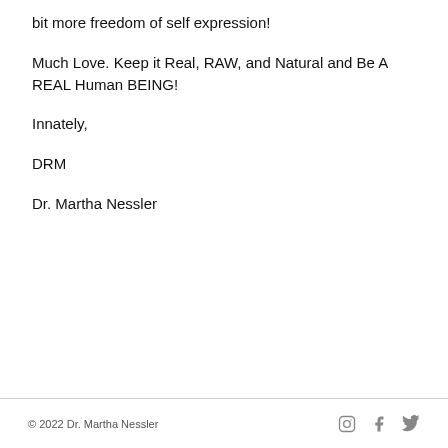bit more freedom of self expression!
Much Love. Keep it Real, RAW, and Natural and Be A REAL Human BEING!
Innately,
DRM
Dr. Martha Nessler
© 2022 Dr. Martha Nessler